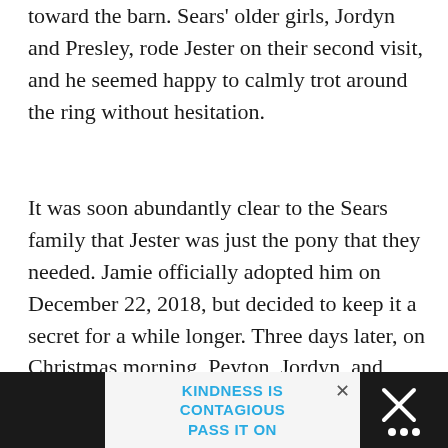toward the barn. Sears' older girls, Jordyn and Presley, rode Jester on their second visit, and he seemed happy to calmly trot around the ring without hesitation.
It was soon abundantly clear to the Sears family that Jester was just the pony that they needed. Jamie officially adopted him on December 22, 2018, but decided to keep it a secret for a while longer. Three days later, on Christmas morning, Peyton, Jordyn, and Presley arrived at the barn to find a bright-eyed chestnut pony, donning a large red bow as he waited for them in the aisle.
[Figure (other): Advertisement banner at bottom of page. Dark sidebars on left and right. Center shows text 'KINDNESS IS CONTAGIOUS PASS IT ON' in blue on light background with a close (X) button.]